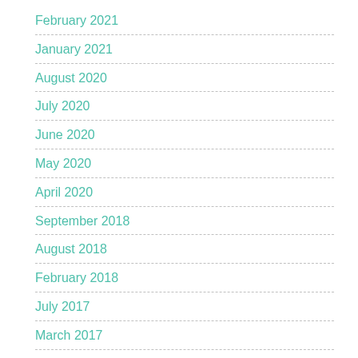February 2021
January 2021
August 2020
July 2020
June 2020
May 2020
April 2020
September 2018
August 2018
February 2018
July 2017
March 2017